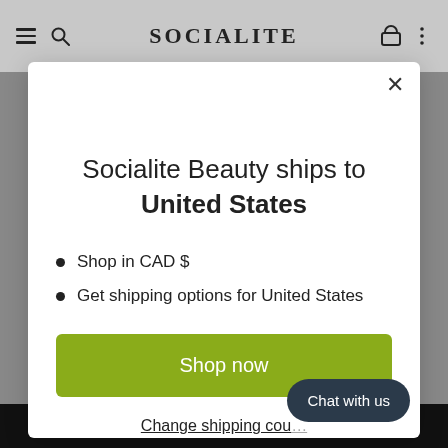SOCIALITE
Socialite Beauty ships to United States
Shop in CAD $
Get shipping options for United States
Shop now
Change shipping cou...
Chat with us
ADD TO CART